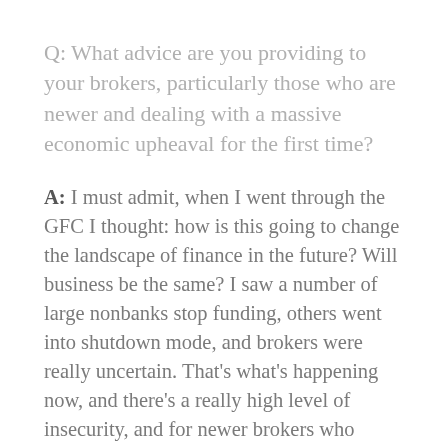Q: What advice are you providing to your brokers, particularly those who are newer and dealing with a massive economic upheaval for the first time?
A: I must admit, when I went through the GFC I thought: how is this going to change the landscape of finance in the future? Will business be the same? I saw a number of large nonbanks stop funding, others went into shutdown mode, and brokers were really uncertain. That's what's happening now, and there's a really high level of insecurity, and for newer brokers who haven't been through the GFC or a big economic shift, you can really look to people who have been in